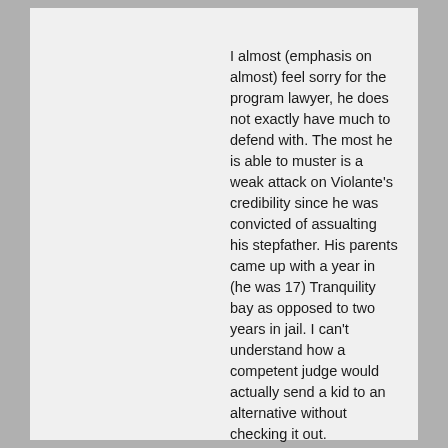I almost (emphasis on almost) feel sorry for the program lawyer, he does not exactly have much to defend with. The most he is able to muster is a weak attack on Violante's credibility since he was convicted of assualting his stepfather. His parents came up with a year in (he was 17) Tranquility bay as opposed to two years in jail. I can't understand how a competent judge would actually send a kid to an alternative without checking it out.